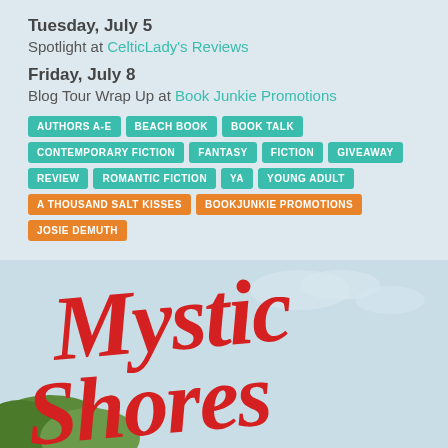Tuesday, July 5
Spotlight at CelticLady's Reviews
Friday, July 8
Blog Tour Wrap Up at Book Junkie Promotions
AUTHORS A-E  BEACH BOOK  BOOK TALK  CONTEMPORARY FICTION  FANTASY  FICTION  GIVEAWAY  REVIEW  ROMANTIC FICTION  YA  YOUNG ADULT  A THOUSAND SALT KISSES  BOOKJUNKIE PROMOTIONS  JOSIE DEMUTH
[Figure (photo): Book cover showing stylized red cursive script title text against a light blue background with partial view of trees at bottom left]